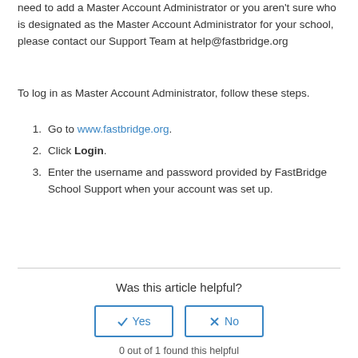need to add a Master Account Administrator or you aren't sure who is designated as the Master Account Administrator for your school, please contact our Support Team at help@fastbridge.org
To log in as Master Account Administrator, follow these steps.
Go to www.fastbridge.org.
Click Login.
Enter the username and password provided by FastBridge School Support when your account was set up.
Was this article helpful?
0 out of 1 found this helpful